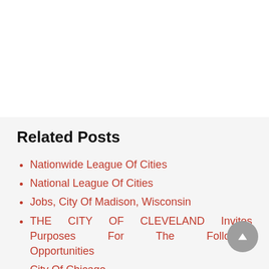Related Posts
Nationwide League Of Cities
National League Of Cities
Jobs, City Of Madison, Wisconsin
THE CITY OF CLEVELAND Invites Purposes For The Following Opportunities
City Of Chicago